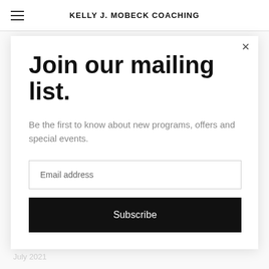KELLY J. MOBECK COACHING
Join our mailing list.
Be the first to know about new programs, offers and special events.
Email address
Subscribe
August 2021
July 2021